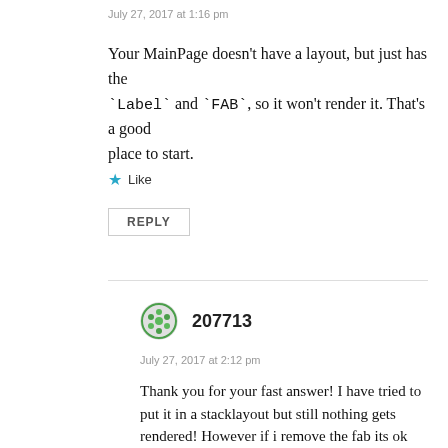July 27, 2017 at 1:16 pm
Your MainPage doesn't have a layout, but just has the `Label` and `FAB`, so it won't render it. That's a good place to start.
Like
REPLY
207713
July 27, 2017 at 2:12 pm
Thank you for your fast answer! I have tried to put it in a stacklayout but still nothing gets rendered! However if i remove the fab its ok even without a layout! 😕
Like